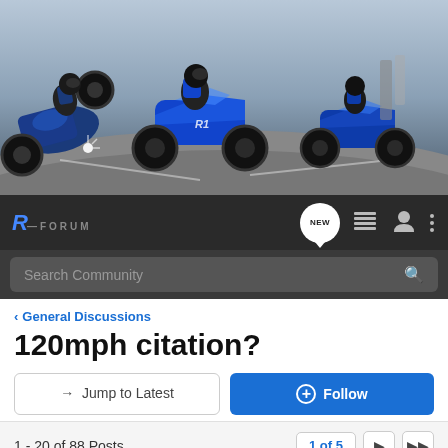[Figure (photo): Motorcycle forum banner showing blue Yamaha R-series motorcycles on a racetrack with riders]
R FORUM — navigation bar with logo, NEW button, list icon, user icon, and more options icon
Search Community
< General Discussions
120mph citation?
→ Jump to Latest
+ Follow
1 - 20 of 88 Posts
1 of 5
Hydouk · yarrrrrrrg 6